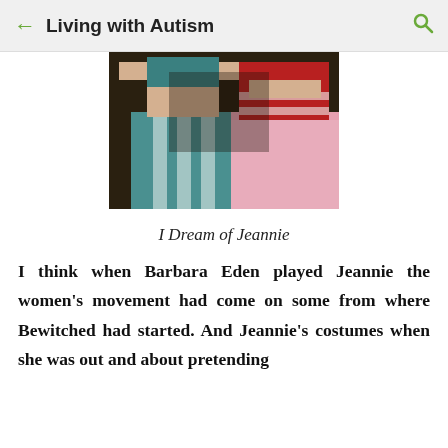Living with Autism
[Figure (photo): Two women in belly dance costumes — one in teal/blue and white, one in red and pink — photographed from the waist down, standing together indoors.]
I Dream of Jeannie
I think when Barbara Eden played Jeannie the women's movement had come on some from where Bewitched had started. And Jeannie's costumes when she was out and about pretending